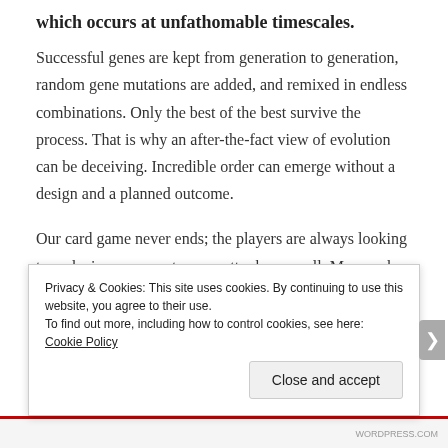which occurs at unfathomable timescales.
Successful genes are kept from generation to generation, random gene mutations are added, and remixed in endless combinations. Only the best of the best survive the process. That is why an after-the-fact view of evolution can be deceiving. Incredible order can emerge without a design and a planned outcome.
Our card game never ends; the players are always looking to make improvements, no matter how small. Many poker players will end up with a Royal Flush (the best possible hand). Bridge hands will end up with every card of the
Privacy & Cookies: This site uses cookies. By continuing to use this website, you agree to their use.
To find out more, including how to control cookies, see here: Cookie Policy
Close and accept